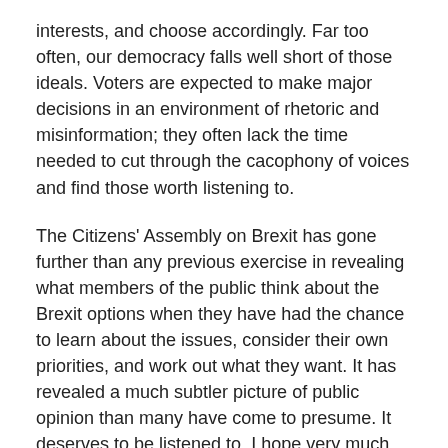interests, and choose accordingly. Far too often, our democracy falls well short of those ideals. Voters are expected to make major decisions in an environment of rhetoric and misinformation; they often lack the time needed to cut through the cacophony of voices and find those worth listening to.
The Citizens' Assembly on Brexit has gone further than any previous exercise in revealing what members of the public think about the Brexit options when they have had the chance to learn about the issues, consider their own priorities, and work out what they want. It has revealed a much subtler picture of public opinion than many have come to presume. It deserves to be listened to. I hope very much that politicians of all persuasions will pay careful attention to what the Assembly has said and reflect on how best to respond.
About the author